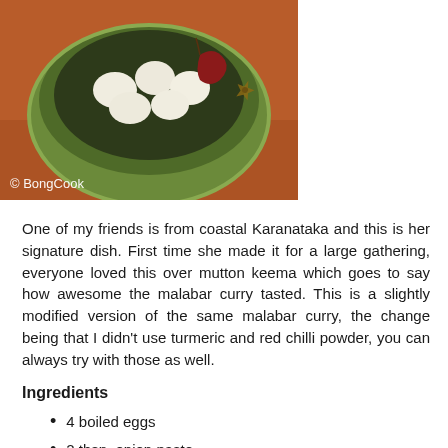[Figure (photo): A green ceramic bowl containing boiled eggs, dried red chillies, and star anise on a reddish-brown surface. Watermark reads '© BongCook'.]
One of my friends is from coastal Karanataka and this is her signature dish. First time she made it for a large gathering, everyone loved this over mutton keema which goes to say how awesome the malabar curry tasted. This is a slightly modified version of the same malabar curry, the change being that I didn't use turmeric and red chilli powder, you can always try with those as well.
Ingredients
4 boiled eggs
2 tbsp. onion paste
1 tsp. ginger paste
1 tsp. garlic paste
1 cup coconut milk